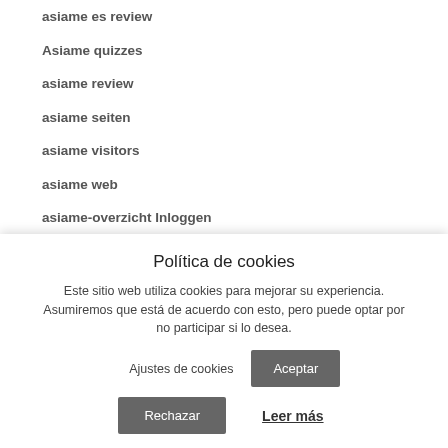asiame es review
Asiame quizzes
asiame review
asiame seiten
asiame visitors
asiame web
asiame-overzicht Inloggen
asian dates review
asian dates reviews
Política de cookies
Este sitio web utiliza cookies para mejorar su experiencia. Asumiremos que está de acuerdo con esto, pero puede optar por no participar si lo desea.
Ajustes de cookies
Aceptar
Rechazar
Leer más